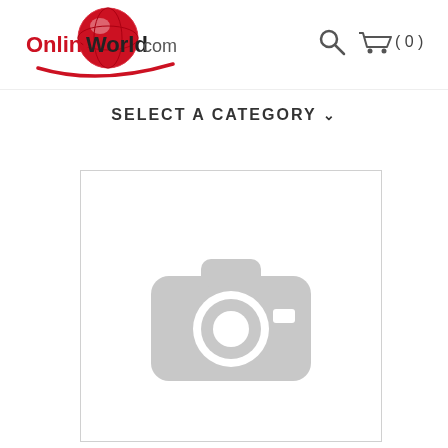[Figure (logo): OnlineWorld.com logo with red globe graphic and red swoosh underline]
[Figure (other): Search icon (magnifying glass)]
[Figure (other): Shopping cart icon with item count (0)]
SELECT A CATEGORY ▾
[Figure (photo): Placeholder product image area showing a grey camera icon on white background inside a light grey bordered box]